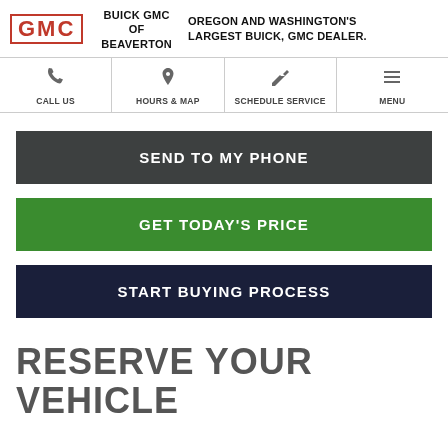[Figure (logo): GMC logo in red with border, dealer name BUICK GMC OF BEAVERTON, tagline OREGON AND WASHINGTON'S LARGEST BUICK, GMC DEALER.]
CALL US | HOURS & MAP | SCHEDULE SERVICE | MENU
SEND TO MY PHONE
GET TODAY'S PRICE
START BUYING PROCESS
RESERVE YOUR VEHICLE